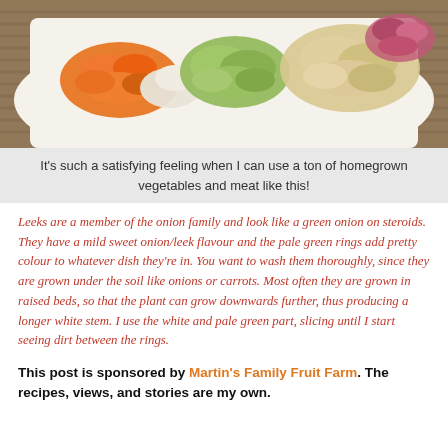[Figure (photo): A white cutting board or plate with piles of chopped vegetables: diced carrots (orange), sliced leeks (pale green rings), diced celery or leeks, and diced white/yellow roots, arranged in colorful piles on what appears to be a woven mat background.]
It's such a satisfying feeling when I can use a ton of homegrown vegetables and meat like this!
Leeks are a member of the onion family and look like a green onion on steroids. They have a mild sweet onion/leek flavour and the pale green rings add pretty colour to whatever dish they're in. You want to wash them thoroughly, since they are grown under the soil like onions or carrots. Most often they are grown in raised beds, so that the plant can grow downwards further, thus producing a longer white stem. I use the white and pale green part, slicing until I start seeing dirt between the rings.
This post is sponsored by Martin's Family Fruit Farm. The recipes, views, and stories are my own.